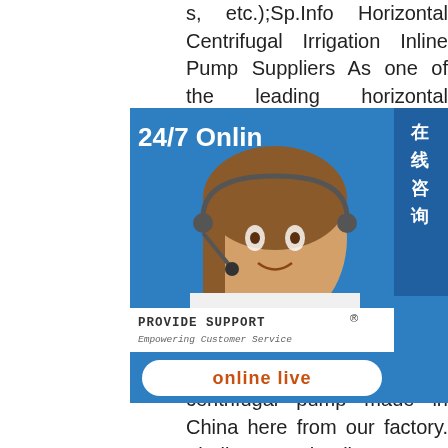s, etc.);Sp.Info Horizontal Centrifugal Irrigation Inline Pump Suppliers As one of the leading horizontal centrifugal irrigation inline pump manufacturers, we warmly welcome wholesale effectively from our factory. For consultation, contact us a Smart Centrifugal Pump ufacturers & Suppliers ina professional and suppliers of various centrifugal pump. You can source quality smart centrifugal pump made in China here from our factory. Zhejiang Chenjie Pump Industry Co.. +8618067705066 + 86 576 80686267; Advantago
[Figure (screenshot): Live chat widget showing a customer service representative with headset, '24/7 Online' header, 'PROVIDE SUPPORT Empowering Customer Service' branding, and an 'online live' button. A vertical Chinese text tab reads '在线咨询' (Online Consultation).]